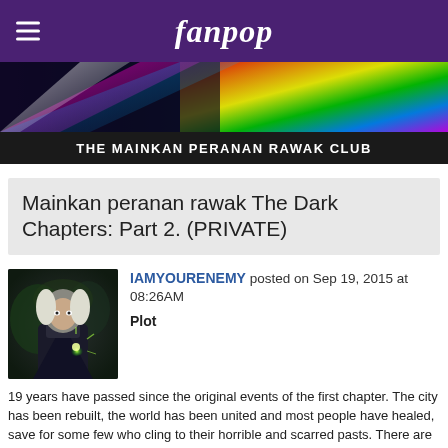fanpop
[Figure (illustration): Rainbow/colorful light streaks banner image]
THE MAINKAN PERANAN RAWAK CLUB
Mainkan peranan rawak The Dark Chapters: Part 2. (PRIVATE)
[Figure (photo): Avatar image showing a fantasy character with white hair casting a spell with glowing hand]
IAMYOURENEMY posted on Sep 19, 2015 at 08:26AM
Plot
19 years have passed since the original events of the first chapter. The city has been rebuilt, the world has been united and most people have healed, save for some few who cling to their horrible and scarred pasts. There are some though, willing to disrupt this society's peace and order for selfish goals...Will you fight with the revolutionaries for a society ruled with the iron fist of their queen, or will you fight to uphold the order and peace that has been preserved for nearly 20 years?